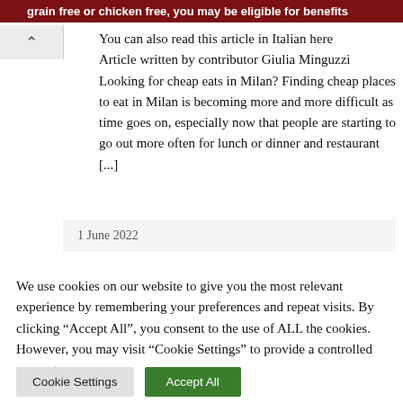grain free or chicken free, you may be eligible for benefits
You can also read this article in Italian here
Article written by contributor Giulia Minguzzi
Looking for cheap eats in Milan? Finding cheap places to eat in Milan is becoming more and more difficult as time goes on, especially now that people are starting to go out more often for lunch or dinner and restaurant [...]
1 June 2022
We use cookies on our website to give you the most relevant experience by remembering your preferences and repeat visits. By clicking "Accept All", you consent to the use of ALL the cookies. However, you may visit "Cookie Settings" to provide a controlled consent.
Cookie Settings | Accept All